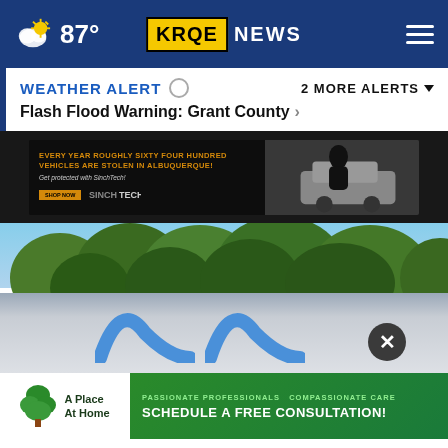87° KRQE NEWS
WEATHER ALERT  Flash Flood Warning: Grant County ›  2 MORE ALERTS ˅
[Figure (screenshot): SinchTech advertisement: 'Every year roughly sixty four hundred vehicles are stolen in Albuquerque! Get protected with SinchTech!' with Shop Now button and image of a car thief breaking into a vehicle]
[Figure (photo): Blurred outdoor photo showing trees and sky, with a partial Meta (Facebook) logo sign visible at bottom. A circular close/X button overlay is visible on the right side.]
[Figure (screenshot): A Place At Home advertisement: 'Passionate Professionals Compassionate Care — Schedule a Free Consultation!']